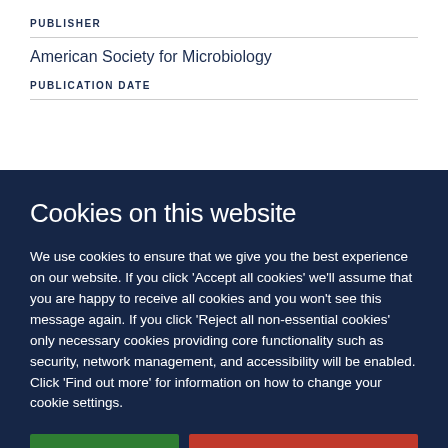PUBLISHER
American Society for Microbiology
PUBLICATION DATE
Cookies on this website
We use cookies to ensure that we give you the best experience on our website. If you click 'Accept all cookies' we'll assume that you are happy to receive all cookies and you won't see this message again. If you click 'Reject all non-essential cookies' only necessary cookies providing core functionality such as security, network management, and accessibility will be enabled. Click 'Find out more' for information on how to change your cookie settings.
Accept all cookies
Reject all non-essential cookies